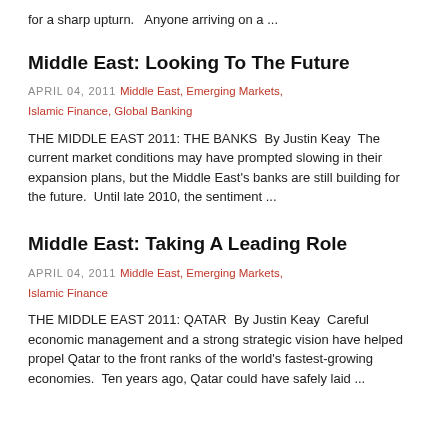for a sharp upturn.   Anyone arriving on a ...
Middle East: Looking To The Future
APRIL 04, 2011  Middle East, Emerging Markets, Islamic Finance, Global Banking
THE MIDDLE EAST 2011: THE BANKS   By Justin Keay   The current market conditions may have prompted slowing in their expansion plans, but the Middle East's banks are still building for the future.   Until late 2010, the sentiment ...
Middle East: Taking A Leading Role
APRIL 04, 2011  Middle East, Emerging Markets, Islamic Finance
THE MIDDLE EAST 2011: QATAR   By Justin Keay   Careful economic management and a strong strategic vision have helped propel Qatar to the front ranks of the world's fastest-growing economies.   Ten years ago, Qatar could have safely laid ...